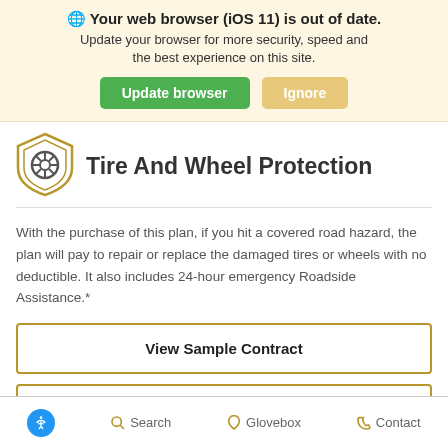🌐 Your web browser (iOS 11) is out of date. Update your browser for more security, speed and the best experience on this site.
Update browser | Ignore
Tire And Wheel Protection
With the purchase of this plan, if you hit a covered road hazard, the plan will pay to repair or replace the damaged tires or wheels with no deductible. It also includes 24-hour emergency Roadside Assistance.*
View Sample Contract
Plan Details
Accessibility  Search  Glovebox  Contact